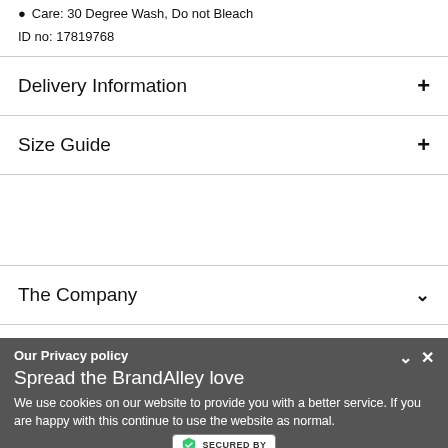Care: 30 Degree Wash, Do not Bleach
ID no: 17819768
Delivery Information
Size Guide
The Company
FAQ
Spread the BrandAlley love
Our Privacy policy
We use cookies on our website to provide you with a better service. If you are happy with this continue to use the website as normal.